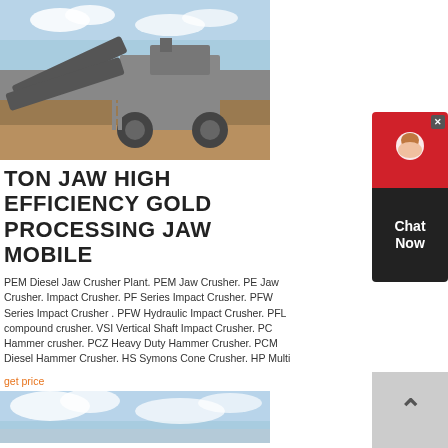[Figure (photo): Industrial jaw crusher/mobile processing plant machinery on a construction/mining site with blue sky background]
TON JAW HIGH EFFICIENCY GOLD PROCESSING JAW MOBILE
PEM Diesel Jaw Crusher Plant. PEM Jaw Crusher. PE Jaw Crusher. Impact Crusher. PF Series Impact Crusher. PFW Series Impact Crusher . PFW Hydraulic Impact Crusher. PFL compound crusher. VSI Vertical Shaft Impact Crusher. PC Hammer crusher. PCZ Heavy Duty Hammer Crusher. PCM Diesel Hammer Crusher. HS Symons Cone Crusher. HP Multi
get price
[Figure (photo): Blue sky with clouds — partial view of another product image]